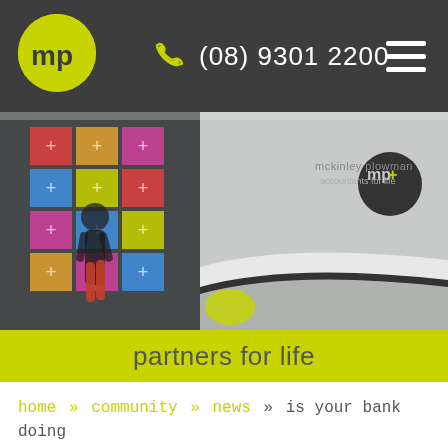mp+ (08) 9301 2200
[Figure (photo): Reception area of McKinley Plowman office showing colourful wall panels with plus signs, a curved white reception desk, the mp+ logo sign, and a woman walking in the foreground]
partners for life
home » community » news » is your bank doing the right thing and looking after you?